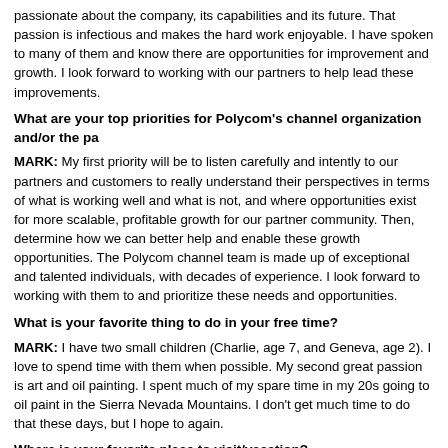passionate about the company, its capabilities and its future. That passion is infectious and makes the hard work enjoyable. I have spoken to many of them and know there are opportunities for improvement and growth. I look forward to working with our partners to help lead these improvements.
What are your top priorities for Polycom's channel organization and/or the pa
MARK: My first priority will be to listen carefully and intently to our partners and customers to really understand their perspectives in terms of what is working well and what is not, and where opportunities exist for more scalable, profitable growth for our partner community. Then, determine how we can better help and enable these growth opportunities. The Polycom channel team is made up of exceptional and talented individuals, with decades of experience. I look forward to working with them to and prioritize these needs and opportunities.
What is your favorite thing to do in your free time?
MARK: I have two small children (Charlie, age 7, and Geneva, age 2). I love to spend time with them when possible. My second great passion is art and oil painting. I spent much of my spare time in my 20s going to oil paint in the Sierra Nevada Mountains. I don't get much time to do that these days, but I hope to again.
Where is your favorite place to visit/vacation?
MARK: Positano, Italy followed by Sydney, Australia.
Tags:  Channel  Channel Chief  Choice Partner Program
[Figure (other): Kudo button showing count of 1 with a star/thumbs icon and label Kudo]